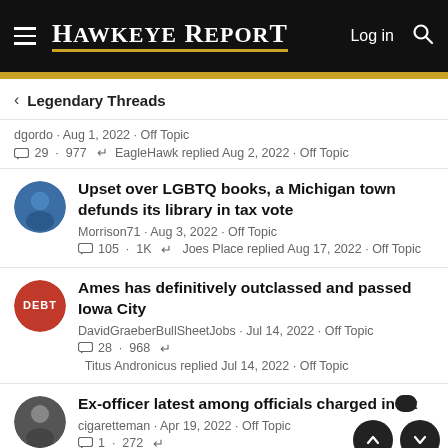HAWKEYE REPORT  Log in
< Legendary Threads
dgordo · Aug 1, 2022 · Off Topic
💬 29 · 977 · ↩ EagleHawk replied Aug 2, 2022 · Off Topic
Upset over LGBTQ books, a Michigan town defunds its library in tax vote
Morrison71 · Aug 3, 2022 · Off Topic
💬 105 · 1K · ↩ Joes Place replied Aug 17, 2022 · Off Topic
Ames has definitively outclassed and passed Iowa City
DavidGraeberBullSheetJobs · Jul 14, 2022 · Off Topic
💬 28 · 968 · ↩ Titus Andronicus replied Jul 14, 2022 · Off Topic
Ex-officer latest among officials charged in a t...
cigaretteman · Apr 19, 2022 · Off Topic
💬 1 · 272 · ↩ Hoosierhawkeye replied Apr 19, 2022 · Off Topic